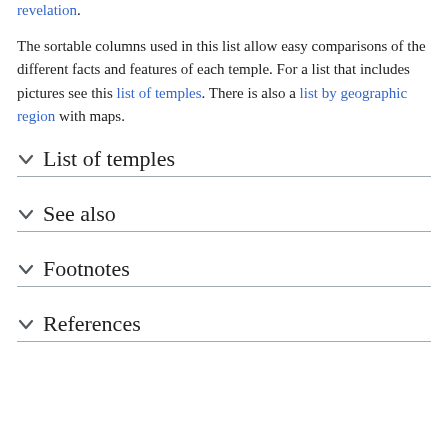revelation.
The sortable columns used in this list allow easy comparisons of the different facts and features of each temple. For a list that includes pictures see this list of temples. There is also a list by geographic region with maps.
List of temples
See also
Footnotes
References